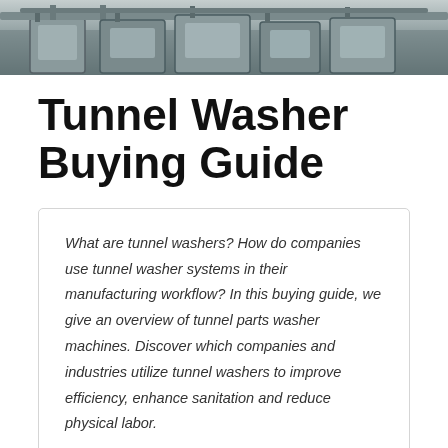[Figure (photo): Industrial tunnel washer machinery in a manufacturing facility — metal tanks and pipes visible, greyscale/muted tones.]
Tunnel Washer Buying Guide
What are tunnel washers? How do companies use tunnel washer systems in their manufacturing workflow? In this buying guide, we give an overview of tunnel parts washer machines. Discover which companies and industries utilize tunnel washers to improve efficiency, enhance sanitation and reduce physical labor.